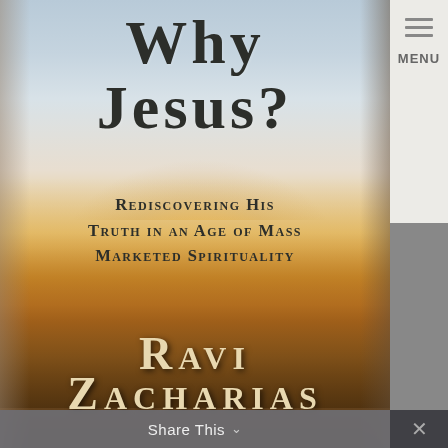[Figure (illustration): Book cover of 'Why Jesus? Rediscovering His Truth in an Age of Mass Marketed Spirituality' by Ravi Zacharias. The cover features a desert landscape with a glowing sunrise/sunset, textured aged finish, and worn edges. The title is in large dark serif font at the top, subtitle in smaller small-caps below, and the author name in cream-colored large serif font near the bottom.]
MENU
Share This ✓  ✕